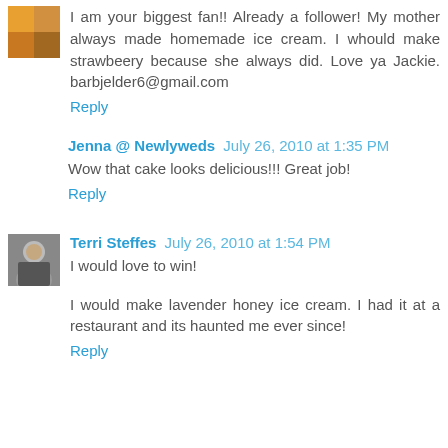I am your biggest fan!! Already a follower! My mother always made homemade ice cream. I whould make strawbeery because she always did. Love ya Jackie. barbjelder6@gmail.com
Reply
Jenna @ Newlyweds July 26, 2010 at 1:35 PM
Wow that cake looks delicious!!! Great job!
Reply
Terri Steffes July 26, 2010 at 1:54 PM
I would love to win!
I would make lavender honey ice cream. I had it at a restaurant and its haunted me ever since!
Reply